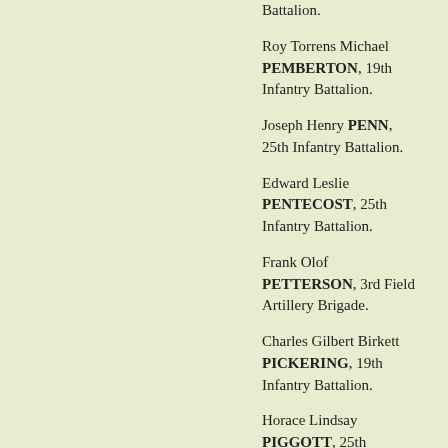Battalion.
Roy Torrens Michael PEMBERTON, 19th Infantry Battalion.
Joseph Henry PENN, 25th Infantry Battalion.
Edward Leslie PENTECOST, 25th Infantry Battalion.
Frank Olof PETTERSON, 3rd Field Artillery Brigade.
Charles Gilbert Birkett PICKERING, 19th Infantry Battalion.
Horace Lindsay PIGGOTT, 25th Infantry Battalion.
George John Thomas POWELL, 19th Infantry Battalion.
Alfred POZZI, 26th Infantry Battalion.
Ernest PRATT, 19th Infantry Battalion.